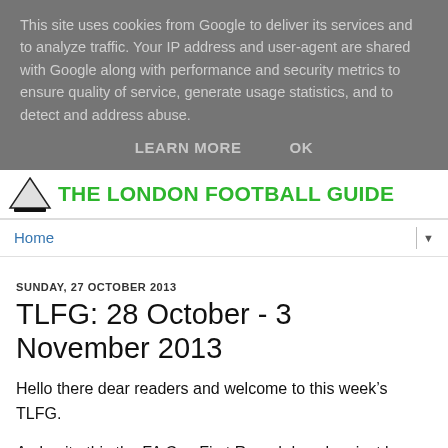This site uses cookies from Google to deliver its services and to analyze traffic. Your IP address and user-agent are shared with Google along with performance and security metrics to ensure quality of service, generate usage statistics, and to detect and address abuse.
LEARN MORE   OK
THE LONDON FOOTBALL GUIDE
Home
SUNDAY, 27 OCTOBER 2013
TLFG: 28 October - 3 November 2013
Hello there dear readers and welcome to this week's TLFG.
As I write this the FA Cup First Round draw has just been completed and I have to say that, with a couple of exceptions, it was a bit underwhelming.